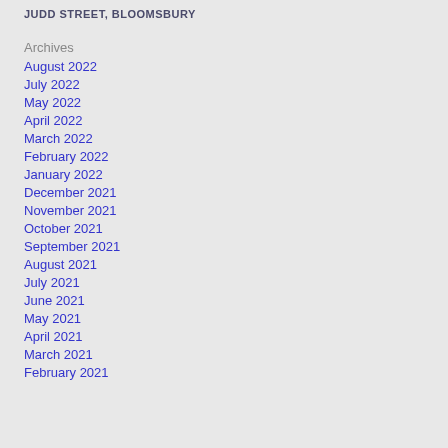JUDD STREET, BLOOMSBURY
Archives
August 2022
July 2022
May 2022
April 2022
March 2022
February 2022
January 2022
December 2021
November 2021
October 2021
September 2021
August 2021
July 2021
June 2021
May 2021
April 2021
March 2021
February 2021